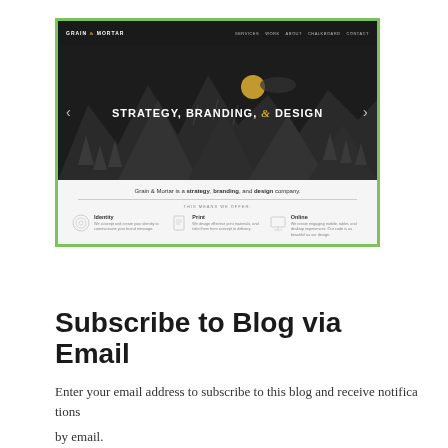[Figure (screenshot): Screenshot of Grain & Mortar website homepage showing dark hero banner with 'STRATEGY, BRANDING, & DESIGN' text, navigation bar, and services section below with Identity, Print, and Online categories. The screenshot has a green border.]
Subscribe to Blog via Email
Enter your email address to subscribe to this blog and receive notifica... by email.